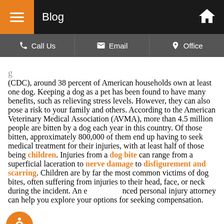Blog
Call Us | Email | Office
(CDC), around 38 percent of American households own at least one dog. Keeping a dog as a pet has been found to have many benefits, such as relieving stress levels. However, they can also pose a risk to your family and others. According to the American Veterinary Medical Association (AVMA), more than 4.5 million people are bitten by a dog each year in this country. Of those bitten, approximately 800,000 of them end up having to seek medical treatment for their injuries, with at least half of those being children. Injuries from a dog bite can range from a superficial laceration to nerve damage to disfigurement and scarring. Children are by far the most common victims of dog bites, often suffering from injuries to their head, face, or neck during the incident. An experienced personal injury attorney can help you explore your options for seeking compensation.